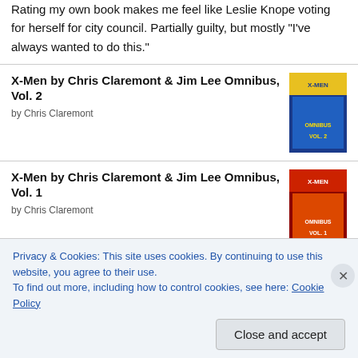Rating my own book makes me feel like Leslie Knope voting for herself for city council. Partially guilty, but mostly "I've always wanted to do this."
X-Men by Chris Claremont & Jim Lee Omnibus, Vol. 2 by Chris Claremont
X-Men by Chris Claremont & Jim Lee Omnibus, Vol. 1 by Chris Claremont
Azumanga Daioh: The Omnibus by Kiyohiko Azuma
Privacy & Cookies: This site uses cookies. By continuing to use this website, you agree to their use. To find out more, including how to control cookies, see here: Cookie Policy
Close and accept